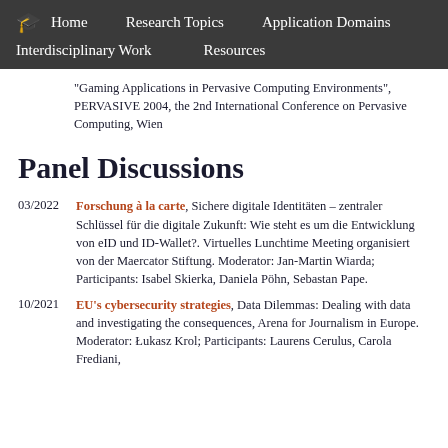Home   Research Topics   Application Domains   Interdisciplinary Work   Resources
"Gaming Applications in Pervasive Computing Environments", PERVASIVE 2004, the 2nd International Conference on Pervasive Computing, Wien
Panel Discussions
03/2022 Forschung à la carte, Sichere digitale Identitäten – zentraler Schlüssel für die digitale Zukunft: Wie steht es um die Entwicklung von eID und ID-Wallet?. Virtuelles Lunchtime Meeting organisiert von der Maercator Stiftung. Moderator: Jan-Martin Wiarda; Participants: Isabel Skierka, Daniela Pöhn, Sebastan Pape.
10/2021 EU's cybersecurity strategies, Data Dilemmas: Dealing with data and investigating the consequences, Arena for Journalism in Europe. Moderator: Łukasz Krol; Participants: Laurens Cerulus, Carola Frediani,